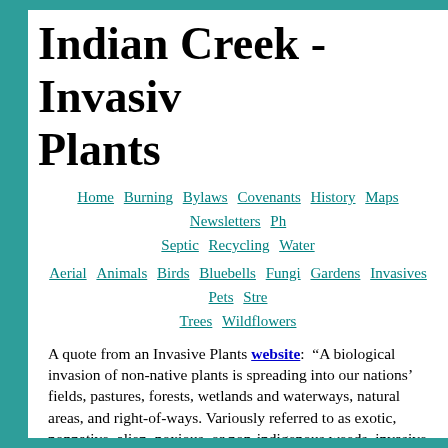Indian Creek - Invasive Plants
Home  Burning  Bylaws  Covenants  History  Maps  Newsletters  Ph...  Septic  Recycling  Water
Aerial  Animals  Birds  Bluebells  Fungi  Gardens  Invasives  Pets  Stre...  Trees  Wildflowers
A quote from an Invasive Plants website: “A biological invasion of non-native plants is spreading into our nations’ fields, pastures, forests, wetlands and waterways, natural areas, and right-of-ways. Variously referred to as exotic, nonnative, alien, noxious, or non-indigenous weeds, invasive plants impact native plant and animal communities by displacing native vegetation and disrupting habitats as they become established and spread over time.”
Listed here are some of the invasive plants found here in Indian Creek, along with treatments you can use to eradicate them.
Invasive Plants  Treatments (se...